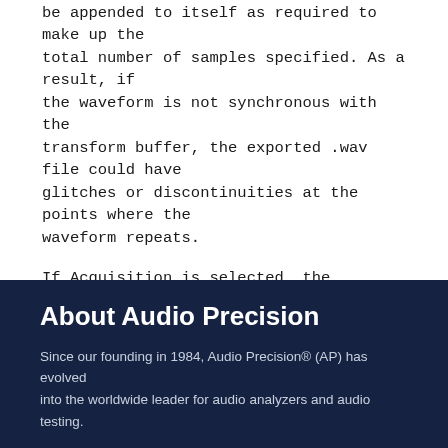be appended to itself as required to make up the total number of samples specified. As a result, if the waveform is not synchronous with the transform buffer, the exported .wav file could have glitches or discontinuities at the points where the waveform repeats.
If Acquisition is selected, the exported .wav file will contain approximately the number of samples specified by the Acquire control on the Digital Analyzer panel.
* * * * *
jb
About Audio Precision
Since our founding in 1984, Audio Precision® (AP) has evolved into the worldwide leader for audio analyzers and audio testing.